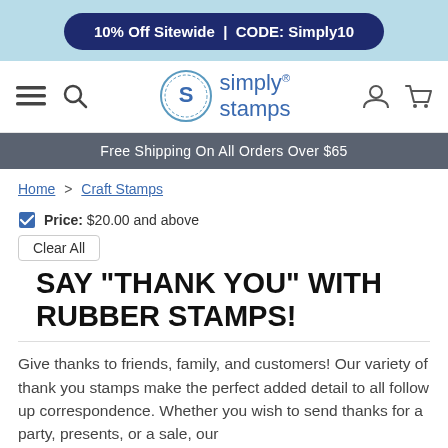10% Off Sitewide | CODE: Simply10
[Figure (logo): Simply Stamps logo with circular seal icon and blue text]
Free Shipping On All Orders Over $65
Home > Craft Stamps
Price: $20.00 and above
Clear All
SAY "THANK YOU" WITH RUBBER STAMPS!
Give thanks to friends, family, and customers! Our variety of thank you stamps make the perfect added detail to all follow up correspondence. Whether you wish to send thanks for a party, presents, or a sale, our
View more